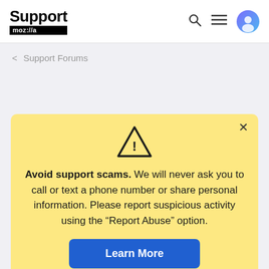Support moz://a
< Support Forums
Avoid support scams. We will never ask you to call or text a phone number or share personal information. Please report suspicious activity using the “Report Abuse” option.
Learn More